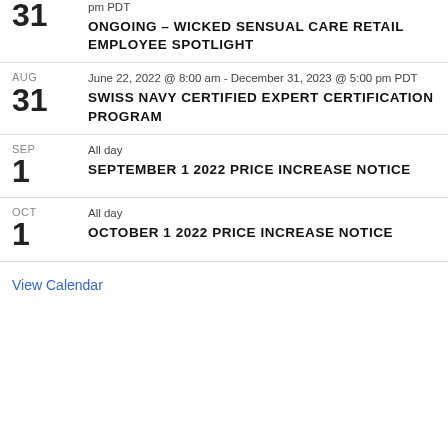31 pm PDT ONGOING – WICKED SENSUAL CARE RETAIL EMPLOYEE SPOTLIGHT
AUG 31 June 22, 2022 @ 8:00 am - December 31, 2023 @ 5:00 pm PDT SWISS NAVY CERTIFIED EXPERT CERTIFICATION PROGRAM
SEP 1 All day SEPTEMBER 1 2022 PRICE INCREASE NOTICE
OCT 1 All day OCTOBER 1 2022 PRICE INCREASE NOTICE
View Calendar